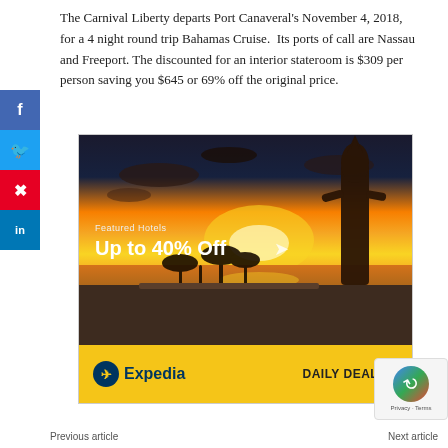The Carnival Liberty departs Port Canaveral's November 4, 2018, for a 4 night round trip Bahamas Cruise. Its ports of call are Nassau and Freeport. The discounted for an interior stateroom is $309 per person saving you $645 or 69% off the original price.
[Figure (illustration): Expedia advertisement banner showing a tropical sunset scene with a silhouette of a statue and palm trees. Text reads 'Featured Hotels / Up to 40% Off'. Bottom bar shows Expedia logo and 'DAILY DEALS >' on yellow background.]
Previous article
Next article